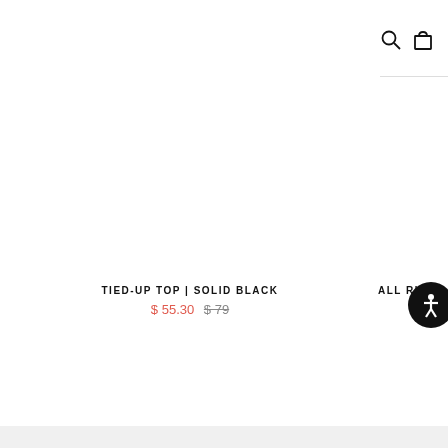Kortni Jeane — navigation header with hamburger menu, logo, search and cart icons
[Figure (photo): White/blank product image area for Tied-Up Top in Solid Black]
TIED-UP TOP | SOLID BLACK
$ 55.30  $79
ALL RU
[Figure (illustration): Accessibility icon button — white person figure in a circle on black background]